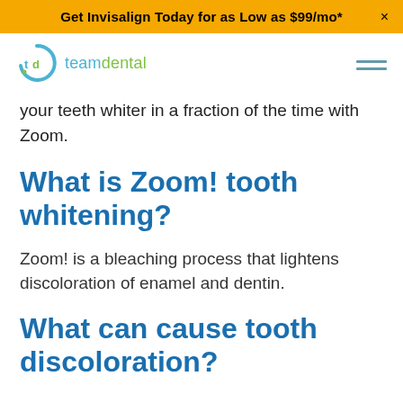Get Invisalign Today for as Low as $99/mo*
[Figure (logo): Team Dental logo with circular tooth icon and 'td' letters in blue/green, followed by 'teamdental' text in blue]
your teeth whiter in a fraction of the time with Zoom.
What is Zoom! tooth whitening?
Zoom! is a bleaching process that lightens discoloration of enamel and dentin.
What can cause tooth discoloration?